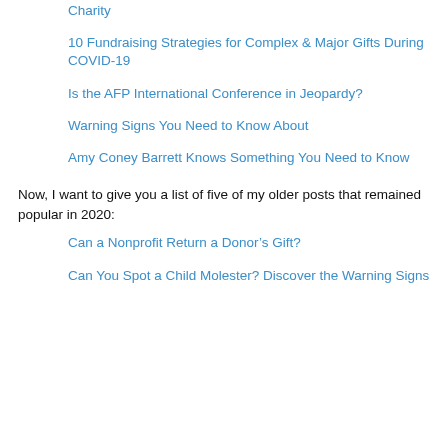Charity
10 Fundraising Strategies for Complex & Major Gifts During COVID-19
Is the AFP International Conference in Jeopardy?
Warning Signs You Need to Know About
Amy Coney Barrett Knows Something You Need to Know
Now, I want to give you a list of five of my older posts that remained popular in 2020:
Can a Nonprofit Return a Donor’s Gift?
Can You Spot a Child Molester? Discover the Warning Signs